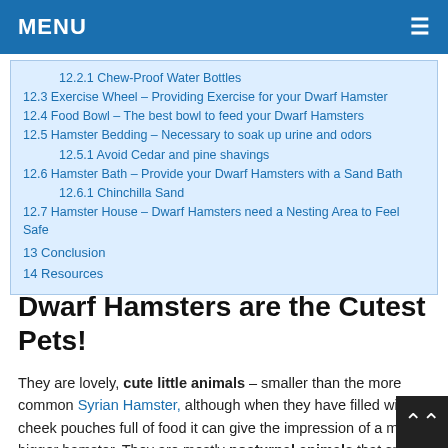MENU
12.2.1 Chew-Proof Water Bottles
12.3 Exercise Wheel – Providing Exercise for your Dwarf Hamster
12.4 Food Bowl – The best bowl to feed your Dwarf Hamsters
12.5 Hamster Bedding – Necessary to soak up urine and odors
12.5.1 Avoid Cedar and pine shavings
12.6 Hamster Bath – Provide your Dwarf Hamsters with a Sand Bath
12.6.1 Chinchilla Sand
12.7 Hamster House – Dwarf Hamsters need a Nesting Area to Feel Safe
13 Conclusion
14 Resources
Dwarf Hamsters are the Cutest Pets!
They are lovely, cute little animals – smaller than the more common Syrian Hamster, although when they have filled with cheek pouches full of food it can give the impression of a much bigger hamster. They are mostly nocturnal animals that spend